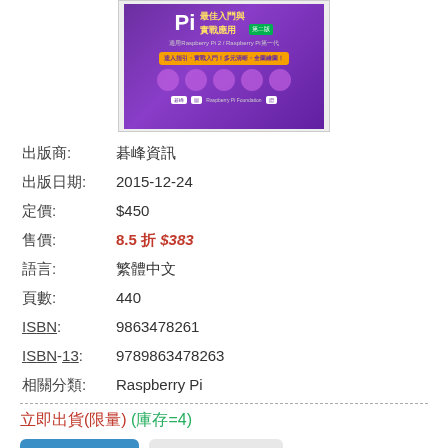[Figure (photo): Book cover of Raspberry Pi 最佳入門與實戰應用 第二版, purple background with pink dots]
| 出版商: | 碁峰資訊 |
| 出版日期: | 2015-12-24 |
| 定價: | $450 |
| 售價: | 8.5 折 $383 |
| 語言: | 繁體中文 |
| 頁數: | 440 |
| ISBN: | 9863478261 |
| ISBN-13: | 9789863478263 |
| 相關分類: | Raspberry Pi |
立即出貨(限量) (庫存=4)
加入購物車   加入追蹤清單